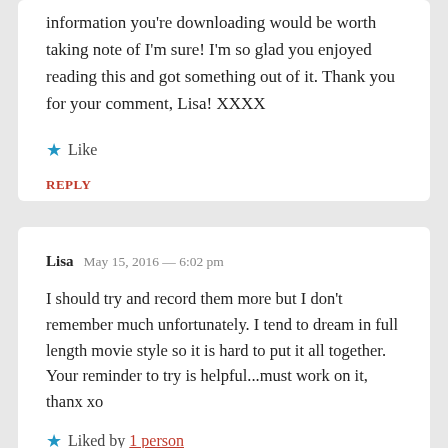information you're downloading would be worth taking note of I'm sure! I'm so glad you enjoyed reading this and got something out of it. Thank you for your comment, Lisa! XXXX
★ Like
REPLY
Lisa  May 15, 2016 — 6:02 pm
I should try and record them more but I don't remember much unfortunately. I tend to dream in full length movie style so it is hard to put it all together. Your reminder to try is helpful...must work on it, thanx xo
★ Liked by 1 person